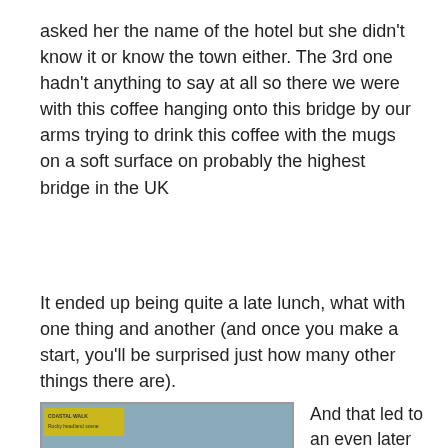asked her the name of the hotel but she didn't know it or know the town either. The 3rd one hadn't anything to say at all so there we were with this coffee hanging onto this bridge by our arms trying to drink this coffee with the mugs on a soft surface on probably the highest bridge in the UK
It ended up being quite a late lunch, what with one thing and another (and once you make a start, you'll be surprised just how many other things there are).
[Figure (photo): A photograph of rocky coastal scene with rough water, waves breaking over dark rocks, with small figures visible on the rocks near the shoreline. A yellow text watermark is visible in the top-left corner.]
And that led to an even later walk around the headland. Wherever did the time go to today?
As I mentioned earlier,